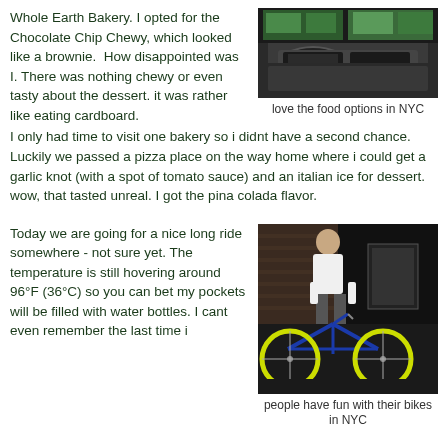Whole Earth Bakery. I opted for the Chocolate Chip Chewy, which looked like a brownie.  How disappointed was I. There was nothing chewy or even tasty about the dessert. it was rather like eating cardboard.  I only had time to visit one bakery so i didnt have a second chance.  Luckily we passed a pizza place on the way home where i could get a garlic knot (with a spot of tomato sauce) and an italian ice for dessert. wow, that tasted unreal. I got the pina colada flavor.
[Figure (photo): Street scene photo showing a car parked in front of a building with green signage, NYC storefront]
love the food options in NYC
Today we are going for a nice long ride somewhere - not sure yet. The temperature is still hovering around 96°F (36°C) so you can bet my pockets will be filled with water bottles. I cant even remember the last time i
[Figure (photo): A man in a white t-shirt standing next to a blue bicycle with yellow-green wheels, indoors]
people have fun with their bikes in NYC